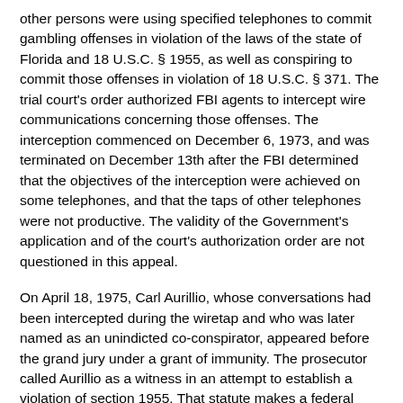other persons were using specified telephones to commit gambling offenses in violation of the laws of the state of Florida and 18 U.S.C. § 1955, as well as conspiring to commit those offenses in violation of 18 U.S.C. § 371. The trial court's order authorized FBI agents to intercept wire communications concerning those offenses. The interception commenced on December 6, 1973, and was terminated on December 13th after the FBI determined that the objectives of the interception were achieved on some telephones, and that the taps of other telephones were not productive. The validity of the Government's application and of the court's authorization order are not questioned in this appeal.
On April 18, 1975, Carl Aurillio, whose conversations had been intercepted during the wiretap and who was later named as an unindicted co-conspirator, appeared before the grand jury under a grant of immunity. The prosecutor called Aurillio as a witness in an attempt to establish a violation of section 1955. That statute makes a federal offense of the operation of a gambling business for over thirty days by five or more persons in violation of state law. Although the interstate commerce clause provides the constitutional basis for section 1955, proof of some interstate activity is not an element of the offense. United States v. Harris, 460 F.2d 1041, 1048 (5th Cir.), cert. denied, 409 U.S. 877, 93 S.Ct.